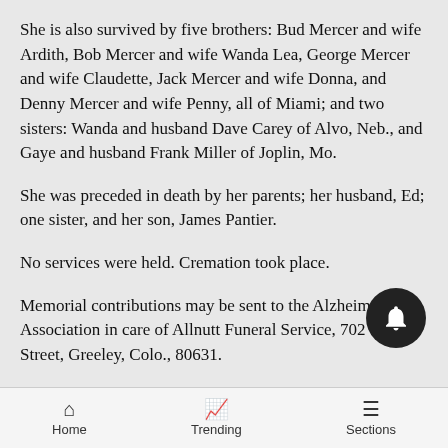She is also survived by five brothers: Bud Mercer and wife Ardith, Bob Mercer and wife Wanda Lea, George Mercer and wife Claudette, Jack Mercer and wife Donna, and Denny Mercer and wife Penny, all of Miami; and two sisters: Wanda and husband Dave Carey of Alvo, Neb., and Gaye and husband Frank Miller of Joplin, Mo.
She was preceded in death by her parents; her husband, Ed; one sister, and her son, James Pantier.
No services were held. Cremation took place.
Memorial contributions may be sent to the Alzheimer's Association in care of Allnutt Funeral Service, 702 13th Street, Greeley, Colo., 80631.
Friends may view the online obituary, sign the guest
Home  Trending  Sections